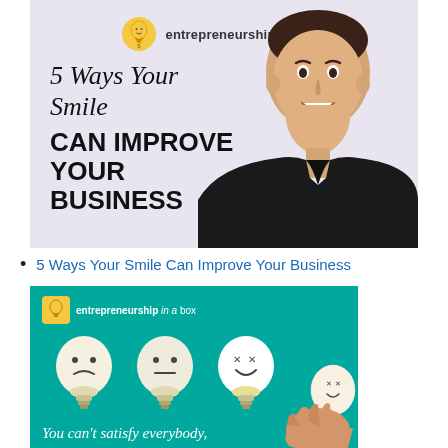[Figure (illustration): Entrepreneurship In A Box branded image with a smiling man in black shirt on lavender background. Left side shows italic text '5 Ways Your Smile' and bold uppercase 'CAN IMPROVE YOUR BUSINESS'. Logo with lightbulb icon and text 'entrepreneurship in a box' at top center.]
5 Ways Your Smile Can Improve Your Business
[Figure (illustration): Entrepreneurship In A Box branded teal/turquoise image showing three light bulbs with emoji-style faces (sad, neutral, happy). A hand holds the smiling bulb on the right. Text at bottom reads 'You can't satisfy everybody,' in white italic script.]